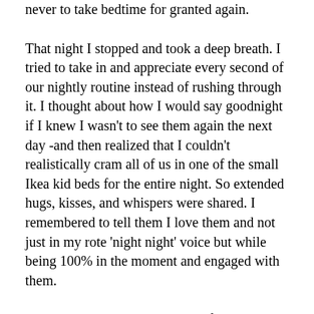never to take bedtime for granted again.
That night I stopped and took a deep breath. I tried to take in and appreciate every second of our nightly routine instead of rushing through it. I thought about how I would say goodnight if I knew I wasn't to see them again the next day -and then realized that I couldn't realistically cram all of us in one of the small Ikea kid beds for the entire night. So extended hugs, kisses, and whispers were shared. I remembered to tell them I love them and not just in my rote 'night night' voice but while being 100% in the moment and engaged with them.
I still get tired and cranky. I still fumble and stumble at bedtime but now I am much better at catching it early and hitting the reset button. And as I do this,  my heart hopes that Charlotte Bacon , Daniel Barden, Rachel Davino